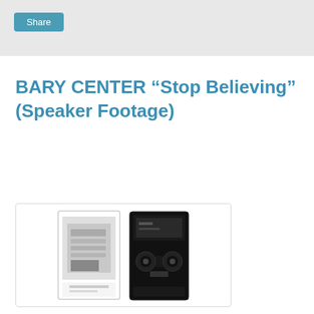Share
BARY CENTER “Stop Believing” (Speaker Footage)
[Figure (photo): Photo of a cassette tape with white case/cover on the left and a black cassette tape on the right, on a white background.]